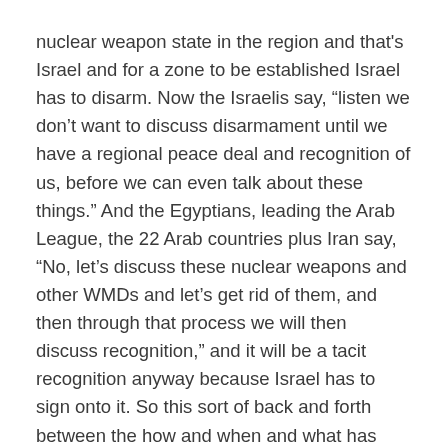nuclear weapon state in the region and that's Israel and for a zone to be established Israel has to disarm. Now the Israelis say, “listen we don’t want to discuss disarmament until we have a regional peace deal and recognition of us, before we can even talk about these things.” And the Egyptians, leading the Arab League, the 22 Arab countries plus Iran say, “No, let’s discuss these nuclear weapons and other WMDs and let’s get rid of them, and then through that process we will then discuss recognition,” and it will be a tacit recognition anyway because Israel has to sign onto it. So this sort of back and forth between the how and when and what has been dragging on for years
Now the 2018 decision to have a conference, and the mandate of the conference, when you look at the resolution that was passed in the General Assembly,